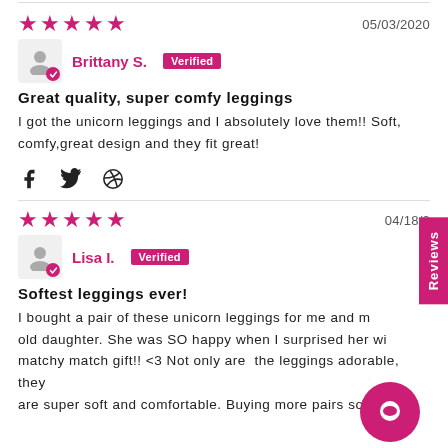★★★★★  05/03/2020
Brittany S.  Verified
Great quality, super comfy leggings
I got the unicorn leggings and I absolutely love them!! Soft, comfy,great design and they fit great!
★★★★★  04/18/2...
Lisa I.  Verified
Softest leggings ever!
I bought a pair of these unicorn leggings for me and m... old daughter. She was SO happy when I surprised her wi... matchy match gift!! <3 Not only are the leggings adorable, they are super soft and comfortable. Buying more pairs soon!